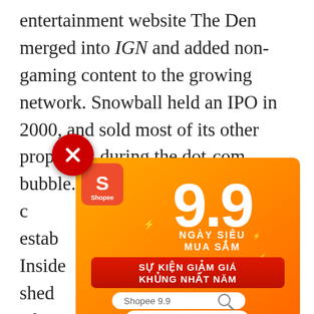entertainment website The Den merged into IGN and added non-gaming content to the growing network. Snowball held an IPO in 2000, and sold most of its other properties during the dot-com bubble. IGN prevailed with competition from a newly established ... IGN Insider ... shed ... adopted ..., 2002
[exte...
In June ..., 24,000 ... with 4.8 million registered users through all departments of the site. IGN has been
[Figure (infographic): Shopee 9.9 Super Shopping Day advertisement overlay. Orange background ad showing '9.9 NGAY SIEU MUA SAM' (Super Shopping Day), 'SU KIEN GIAM GIA KHUNG NHAT NAM' (Biggest discount event of the year), a search bar with 'Shopee 9.9', and a 'MUA NGAY' (Buy Now) button. Red close button (X) in top-left corner. Shopee logo in top-left of ad.]